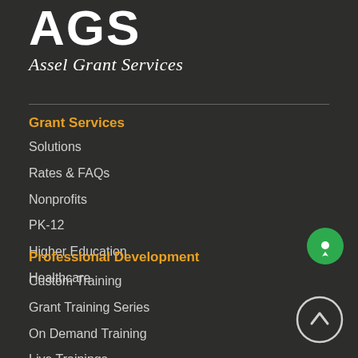[Figure (logo): AGS logo with large bold lettering and italic tagline 'Assel Grant Services']
Grant Services
Solutions
Rates & FAQs
Nonprofits
PK-12
Higher Education
Healthcare
Professional Development
Custom Training
Grant Training Series
On Demand Training
Live Trainings